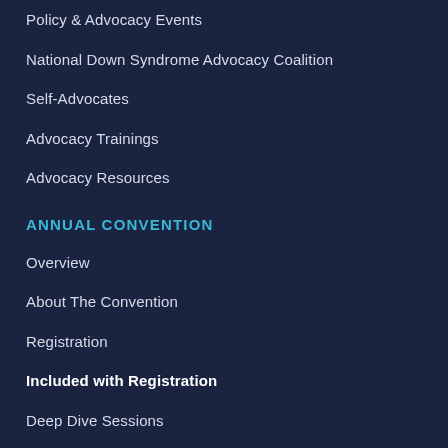Policy & Advocacy Events
National Down Syndrome Advocacy Coalition
Self-Advocates
Advocacy Trainings
Advocacy Resources
ANNUAL CONVENTION
Overview
About The Convention
Registration
Included with Registration
Deep Dive Sessions
Kids' Camp
OSEP at the Convention
Advocacy Training Boot Camp